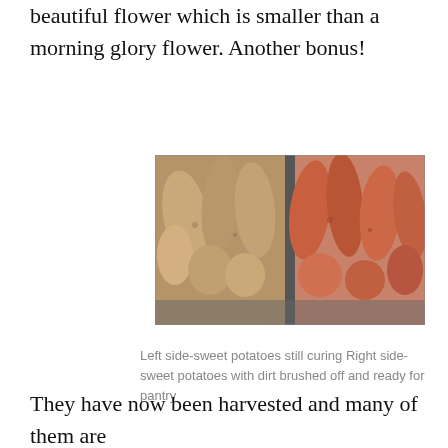beautiful flower which is smaller than a morning glory flower. Another bonus!
[Figure (photo): Two plastic crates side by side containing sweet potatoes. Left side shows sweet potatoes still curing (pale/beige), right side shows sweet potatoes with dirt brushed off and ready for pantry (pinkish/orange).]
Left side-sweet potatoes still curing Right side-sweet potatoes with dirt brushed off and ready for pantry
They have now been harvested and many of them are